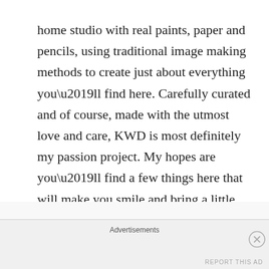home studio with real paints, paper and pencils, using traditional image making methods to create just about everything you’ll find here. Carefully curated and of course, made with the utmost love and care, KWD is most definitely my passion project. My hopes are you’ll find a few things here that will make you smile and bring a little magic into your life!”
I am absolutely smitten with the latest collection inspired by the Wizard of Oz – once you’ve been Dorothy in a community theater production of the musical, you basically never need to let that go (is what I am telling myself). If 1950’s silhouettes are not your
Advertisements